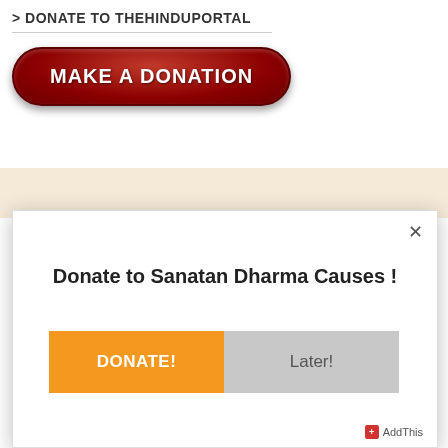> DONATE TO THEHINDUPORTAL
[Figure (illustration): Red glossy pill-shaped button with white bold text reading MAKE A DONATION]
> LATEST
[Figure (screenshot): Modal dialog popup with white background, close X button, title 'Donate to Sanatan Dharma Causes !', an orange DONATE! button and a gray Later! button, and AddThis badge in bottom right corner]